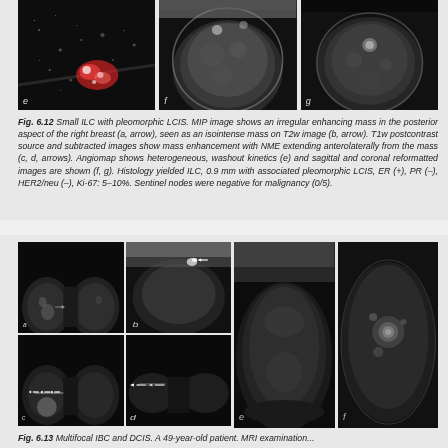[Figure (photo): Three MRI breast images labeled e, f, g. Image e shows an angiomap with color overlay (red/white highlights). Images f and g show grayscale MRI breast scans in different orientations.]
Fig. 6.12 Small ILC with pleomorphic LCIS. MIP image shows an irregular enhancing mass in the posterior aspect of the right breast (a, arrow), seen as an isointense mass on T2w image (b, arrow). T1w postcontrast source and subtracted images show mass enhancement with NME extending anterolaterally from the mass (c, d, arrows). Angiomap shows heterogeneous, washout kinetics (e) and sagittal and coronal reformatted images are shown (f, g). Histology yielded ILC, 0.9 mm with associated pleomorphic LCIS, ER (+), PR (–), HER2/neu (–), Ki-67: 5–10%. Sentinel nodes were negative for malignancy (0/5).
[Figure (photo): Six MRI breast images labeled a–f arranged in a grid. Images a and b show axial and sagittal views of bilateral breasts. Images c and d show axial views with arrows indicating lesions. Images e and f show sagittal MRI views of the breast.]
Fig. 6.13 Multifocal IBC and DCIS. A 49-year-old patient. MRI examination...